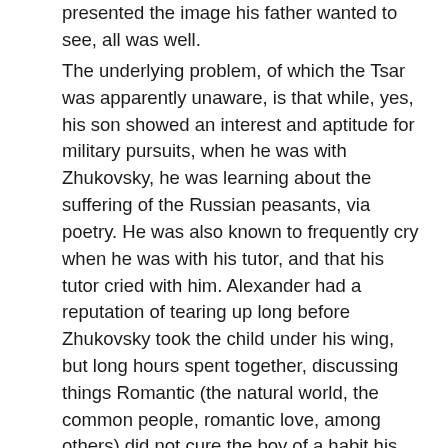presented the image his father wanted to see, all was well.
The underlying problem, of which the Tsar was apparently unaware, is that while, yes, his son showed an interest and aptitude for military pursuits, when he was with Zhukovsky, he was learning about the suffering of the Russian peasants, via poetry. He was also known to frequently cry when he was with his tutor, and that his tutor cried with him. Alexander had a reputation of tearing up long before Zhukovsky took the child under his wing, but long hours spent together, discussing things Romantic (the natural world, the common people, romantic love, among others) did not cure the boy of a habit his father found increasingly embarrassing. Even years later, when a teenaged Alexander fell deeply in romantic love with an early mistress, sought to marry her when she fell pregnant, and was devastated when his autocratic father married the young woman off to a military officer, banishing her from his son's sight forever,